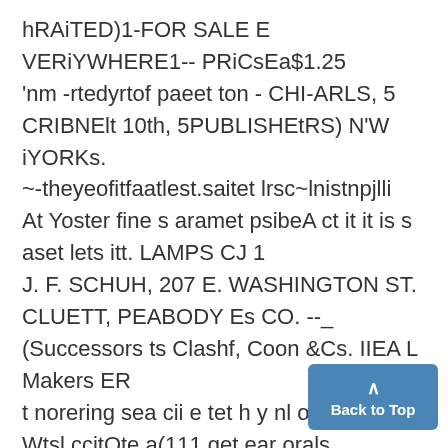hRAiTED)1-FOR SALE E VERiYWHERE1-- PRiCsEa$1.25
'nm -rtedyrtof paeet ton - CHI-ARLS, 5 CRIBNElt 10th, 5PUBLISHEtRS) N'W iYORKs.
~-theyeofitfaatlest.saitet lrsc~lnistnpjlli
At Yoster fine s aramet psibeA ct it it is s aset lets itt. LAMPS CJ 1
J. F. SCHUH, 207 E. WASHINGTON ST.
CLUETT, PEABODY Es CO. --_
(Successors ts Clashf, Coon &Cs. IIEA L Makers ER
t norering sea cii e tet h y nl o t
Wtsl ccitOte a(111 get ear orals
Back to Top